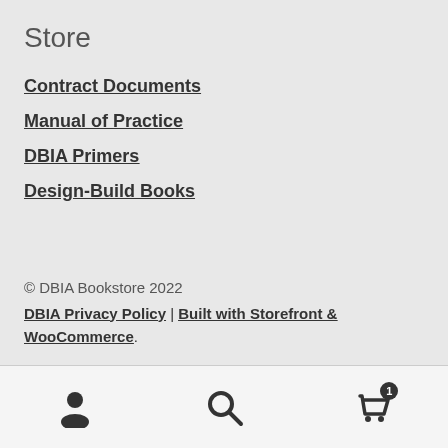Store
Contract Documents
Manual of Practice
DBIA Primers
Design-Build Books
© DBIA Bookstore 2022
DBIA Privacy Policy | Built with Storefront & WooCommerce.